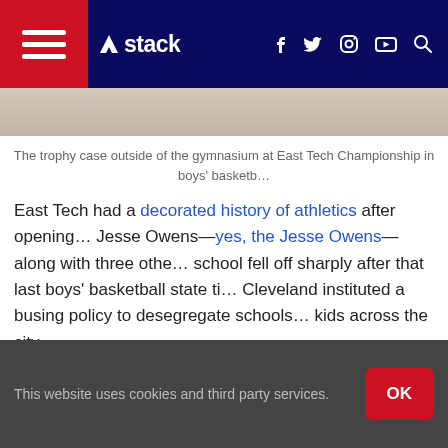Stack — navigation bar with hamburger menu, logo, social icons (f, twitter, instagram, youtube), search
[Figure (photo): Partial image strip showing a gymnasium or trophy case interior]
The trophy case outside of the gymnasium at East Tech Championship in boys' basketb…
East Tech had a decorated history of athletics after opening… Jesse Owens—yes, the Jesse Owens—along with three othe… school fell off sharply after that last boys' basketball state ti… Cleveland instituted a busing policy to desegregate schools … kids across the city.
[Figure (other): Advertisement placeholder box]
This website uses cookies and third party services.